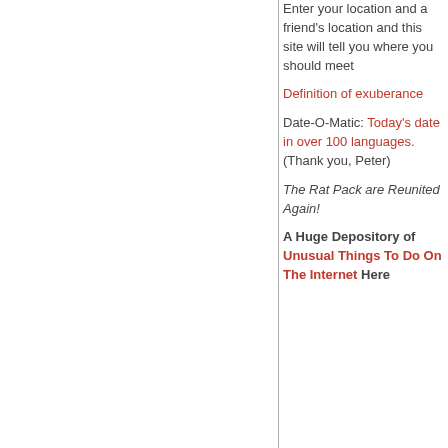Enter your location and a friend's location and this site will tell you where you should meet
Definition of exuberance
Date-O-Matic: Today's date in over 100 languages. (Thank you, Peter)
The Rat Pack are Reunited Again!
A Huge Depository of Unusual Things To Do On The Internet Here